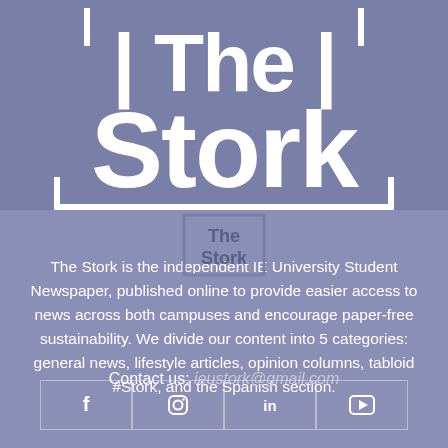[Figure (logo): The Stork large logo text with bracket design on purple/blue background]
[Figure (logo): Small The Stork logo with box border]
The Stork is the independent IE University Student Newspaper, published online to provide easier access to news across both campuses and encourage paper-free sustainability. We divide our content into 5 categories: general news, lifestyle articles, opinion columns, tabloid #Stork, and the Spanish section.
Contact us: ieustork@gmail.com
[Figure (infographic): Social media icons: Facebook, Instagram, LinkedIn, YouTube in a row with border dividers]